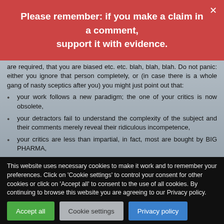Please remember: if you make a claim in a comment, support it with evidence.
are required, that you are biased etc. etc. blah, blah, blah. Do not panic: either you ignore that person completely, or (in case there is a whole gang of nasty sceptics after you) you might just point out that:
your work follows a new paradigm; the one of your critics is now obsolete,
your detractors fail to understand the complexity of the subject and their comments merely reveal their ridiculous incompetence,
your critics are less than impartial, in fact, most are bought by BIG PHARMA,
This website uses necessary cookies to make it work and to remember your preferences. Click on 'Cookie settings' to control your consent for other cookies or click on 'Accept all' to consent to the use of all cookies. By continuing to browse this website you are agreeing to our Privacy policy.